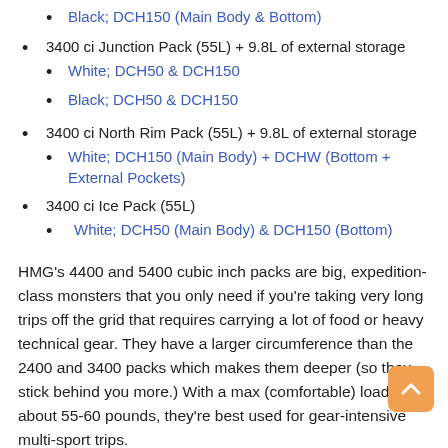Black; DCH150 (Main Body & Bottom)
3400 ci Junction Pack (55L) + 9.8L of external storage
White; DCH50 & DCH150
Black; DCH50 & DCH150
3400 ci North Rim Pack (55L) + 9.8L of external storage
White; DCH150 (Main Body) + DCHW (Bottom + External Pockets)
3400 ci Ice Pack (55L)
White; DCH50 (Main Body) & DCH150 (Bottom)
HMG's 4400 and 5400 cubic inch packs are big, expedition-class monsters that you only need if you're taking very long trips off the grid that requires carrying a lot of food or heavy technical gear. They have a larger circumference than the 2400 and 3400 packs which makes them deeper (so they stick behind you more.) With a max (comfortable) load of about 55-60 pounds, they're best used for gear-intensive multi-sport trips.
The 4400 and 5400 packs have a frame consisting of an internal